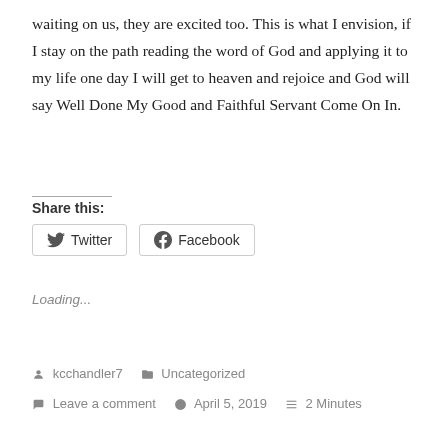waiting on us, they are excited too. This is what I envision, if I stay on the path reading the word of God and applying it to my life one day I will get to heaven and rejoice and God will say Well Done My Good and Faithful Servant Come On In.
Share this:
Loading...
kcchandler7   Uncategorized
Leave a comment   April 5, 2019   2 Minutes